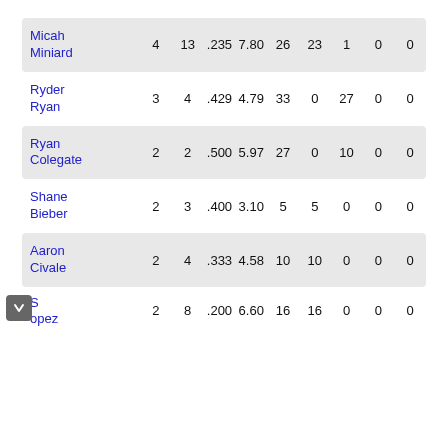| Micah Miniard | 4 | 13 | .235 | 7.80 | 26 | 23 | 1 | 0 | 0 |
| Ryder Ryan | 3 | 4 | .429 | 4.79 | 33 | 0 | 27 | 0 | 0 |
| Ryan Colegate | 2 | 2 | .500 | 5.97 | 27 | 0 | 10 | 0 | 0 |
| Shane Bieber | 2 | 3 | .400 | 3.10 | 5 | 5 | 0 | 0 | 0 |
| Aaron Civale | 2 | 4 | .333 | 4.58 | 10 | 10 | 0 | 0 | 0 |
| S ...opez | 2 | 8 | .200 | 6.60 | 16 | 16 | 0 | 0 | 0 |